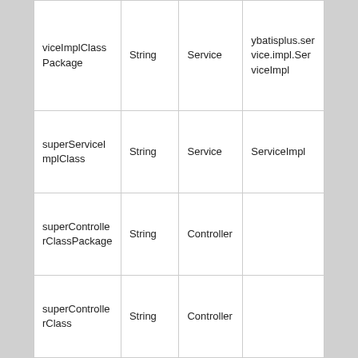| viceImplClassPackage | String | Service | ybatisplus.service.impl.ServiceImpl |
| superServiceImplClass | String | Service | ServiceImpl |
| superControllerClassPackage | String | Controller |  |
| superControllerClass | String | Controller |  |